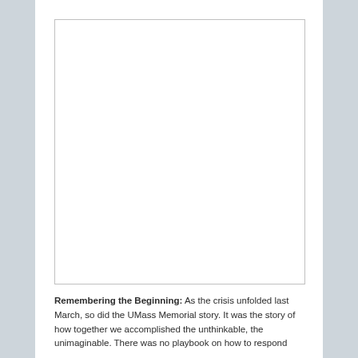[Figure (photo): Blank/white image placeholder with thin border]
Remembering the Beginning: As the crisis unfolded last March, so did the UMass Memorial story. It was the story of how together we accomplished the unthinkable, the unimaginable. There was no playbook on how to respond